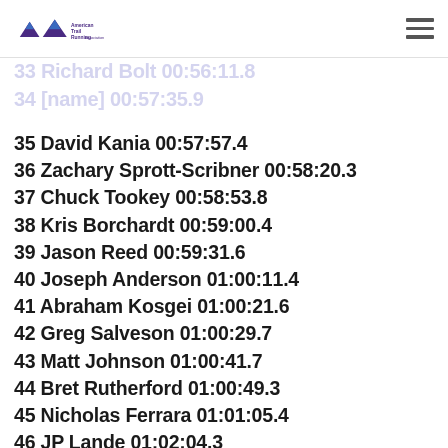American Trail Running Association logo and navigation
33 Richard Bolt 00:56:11.8
34 [name] 00:57:35.9
35 David Kania 00:57:57.4
36 Zachary Sprott-Scribner 00:58:20.3
37 Chuck Tookey 00:58:53.8
38 Kris Borchardt 00:59:00.4
39 Jason Reed 00:59:31.6
40 Joseph Anderson 01:00:11.4
41 Abraham Kosgei 01:00:21.6
42 Greg Salveson 01:00:29.7
43 Matt Johnson 01:00:41.7
44 Bret Rutherford 01:00:49.3
45 Nicholas Ferrara 01:01:05.4
46 JP Lande 01:02:04.3
47 Mark Rickman 01:02:48.9
48 Jack Kammerer 01:03:45.1
49 Geoffrey Thompson 01:03:57.9
50 Jeremy Layer 01:04:23.2
51 Jeff Villa 01:04:40.3